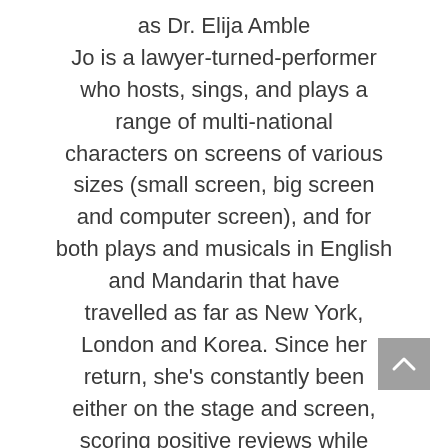as Dr. Elija Amble Jo is a lawyer-turned-performer who hosts, sings, and plays a range of multi-national characters on screens of various sizes (small screen, big screen and computer screen), and for both plays and musicals in English and Mandarin that have travelled as far as New York, London and Korea. Since her return, she's constantly been either on the stage and screen, scoring positive reviews while playing major roles in such productions as W!ld Rice's La Cage Aux Folles, The Finger Players' Itsy the Musical, and